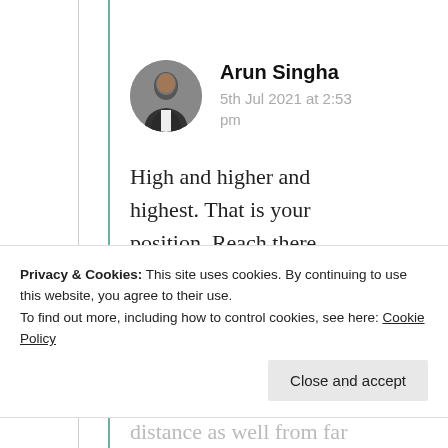[Figure (photo): Circular avatar photo of Arun Singha, a person in a suit]
Arun Singha
5th Jul 2021 at 2:53 pm
High and higher and highest. That is your position. Reach there. Not only you will enjoy, people will enjoy. My
Privacy & Cookies: This site uses cookies. By continuing to use this website, you agree to their use.
To find out more, including how to control cookies, see here: Cookie Policy
Close and accept
distance as well from far